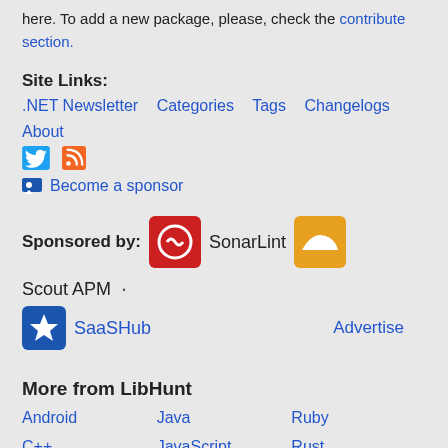here. To add a new package, please, check the contribute section.
Site Links:
.NET Newsletter   Categories   Tags   Changelogs   About
[Figure (other): Twitter bird icon and RSS feed icon]
🏳 Become a sponsor
Sponsored by: SonarLint · Scout APM · SaaSHub   Advertise
More from LibHunt
Android
Java
Ruby
C++
JavaScript
Rust
Crystal
Kotlin
Scala
Elixir
Node.js
Self Hosted
Go
PHP
Swift
Haskell
Python
SysAdmin